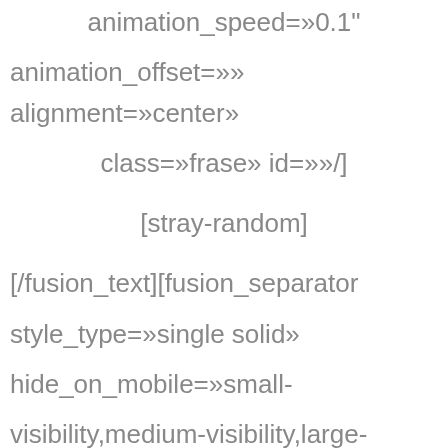animation_speed=»0.1" animation_offset=»» alignment=»center» class=»frase» id=»»/] [stray-random] [/fusion_text][fusion_separator style_type=»single solid» hide_on_mobile=»small-visibility,medium-visibility,large-visibility» class=»» id=»» sep_color=»#d3d3d3" top_margin=»0" bottom_margin=»30px» border_size=»»